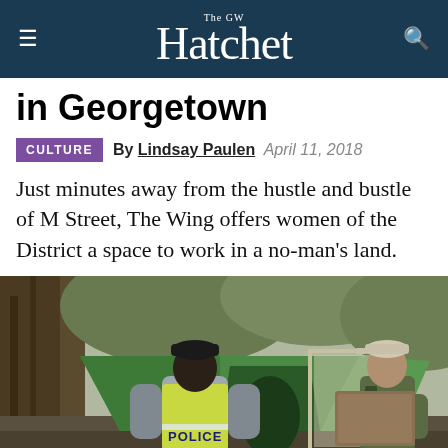The GW Hatchet
in Georgetown
CULTURE  By Lindsay Paulen  April 11, 2018
Just minutes away from the hustle and bustle of M Street, The Wing offers women of the District a space to work in a no-man's land.
[Figure (photo): A police officer in a yellow high-visibility vest with 'POLICE' written on the back stands near green camping tents in a wooded area. Another person in camouflage clothing stands to the right holding a box.]